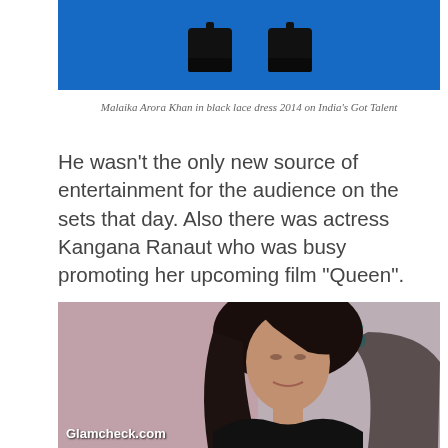[Figure (photo): Cropped photo showing feet/shoes of a person on a blue carpet background, top portion of the image]
Malaika Arora Khan in black lace dress 2014 on India’s Got Talent
He wasn’t the only new source of entertainment for the audience on the sets that day. Also there was actress Kangana Ranaut who was busy promoting her upcoming film “Queen”.
[Figure (photo): Photo of a woman with long dark hair, wearing a black outfit, standing in front of a wall with teal/blue graffiti. Watermark reads Glamcheck.com]